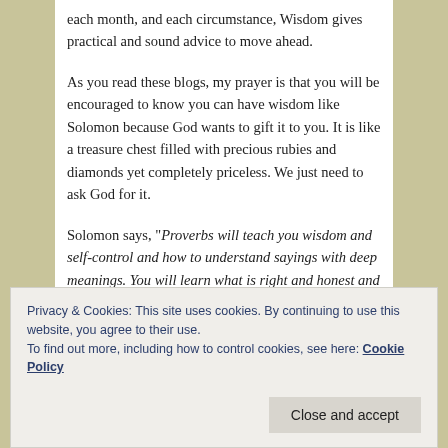each month, and each circumstance, Wisdom gives practical and sound advice to move ahead.
As you read these blogs, my prayer is that you will be encouraged to know you can have wisdom like Solomon because God wants to gift it to you. It is like a treasure chest filled with precious rubies and diamonds yet completely priceless. We just need to ask God for it.
Solomon says, “Proverbs will teach you wisdom and self-control and how to understand sayings with deep meanings. You will learn what is right and honest and fair.” Proverbs 1:2-3
Privacy & Cookies: This site uses cookies. By continuing to use this website, you agree to their use.
To find out more, including how to control cookies, see here: Cookie Policy